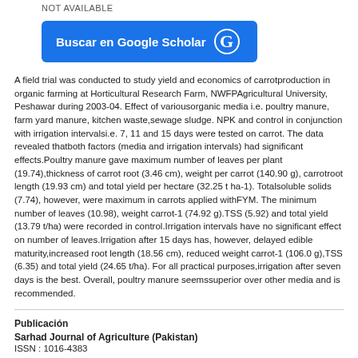NOT AVAILABLE
[Figure (other): Buscar en Google Scholar button with Google G logo]
A field trial was conducted to study yield and economics of carrotproduction in organic farming at Horticultural Research Farm, NWFPAgricultural University, Peshawar during 2003-04. Effect of variousorganic media i.e. poultry manure, farm yard manure, kitchen waste,sewage sludge. NPK and control in conjunction with irrigation intervalsi.e. 7, 11 and 15 days were tested on carrot. The data revealed thatboth factors (media and irrigation intervals) had significant effects.Poultry manure gave maximum number of leaves per plant (19.74),thickness of carrot root (3.46 cm), weight per carrot (140.90 g), carrotroot length (19.93 cm) and total yield per hectare (32.25 t ha-1). Totalsoluble solids (7.74), however, were maximum in carrots applied withFYM. The minimum number of leaves (10.98), weight carrot-1 (74.92 g).TSS (5.92) and total yield (13.79 t/ha) were recorded in control.Irrigation intervals have no significant effect on number of leaves.Irrigation after 15 days has, however, delayed edible maturity,increased root length (18.56 cm), reduced weight carrot-1 (106.0 g),TSS (6.35) and total yield (24.65 t/ha). For all practical purposes,irrigation after seven days is the best. Overall, poultry manure seemssuperior over other media and is recommended.
Publicación
Sarhad Journal of Agriculture (Pakistan)
ISSN : 1016-4383